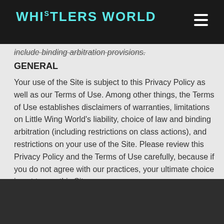Whistlers World
include binding arbitration provisions.
GENERAL
Your use of the Site is subject to this Privacy Policy as well as our Terms of Use. Among other things, the Terms of Use establishes disclaimers of warranties, limitations on Little Wing World's liability, choice of law and binding arbitration (including restrictions on class actions), and restrictions on your use of the Site. Please review this Privacy Policy and the Terms of Use carefully, because if you do not agree with our practices, your ultimate choice is not to use this Site.